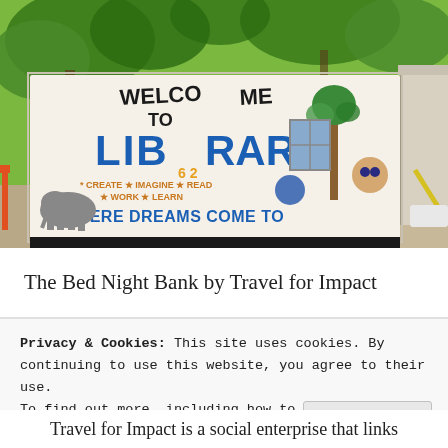[Figure (photo): Outdoor mural on a white wall reading 'WELCOME TO [the] LIBRARY - WHERE DREAMS COME TO...' with painted animals (elephant), trees, globe, and colorful decorations. Surrounded by trees and a playground.]
The Bed Night Bank by Travel for Impact
Privacy & Cookies: This site uses cookies. By continuing to use this website, you agree to their use.
To find out more, including how to control cookies, see here: Cookie Policy
Close and accept
Travel for Impact is a social enterprise that links